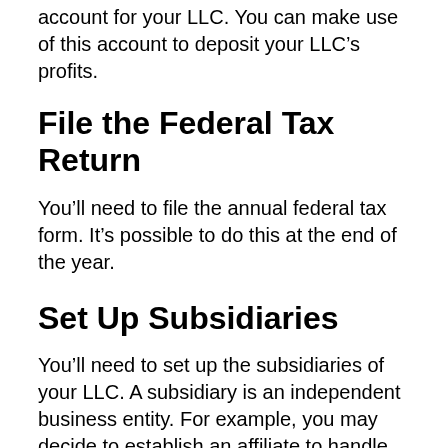account for your LLC. You can make use of this account to deposit your LLC’s profits.
File the Federal Tax Return
You’ll need to file the annual federal tax form. It’s possible to do this at the end of the year.
Set Up Subsidiaries
You’ll need to set up the subsidiaries of your LLC. A subsidiary is an independent business entity. For example, you may decide to establish an affiliate to handle sales, marketing, and customer service.